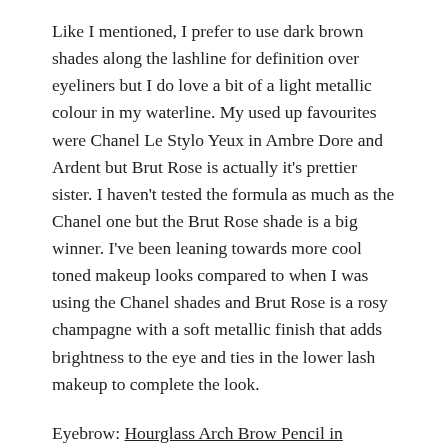Like I mentioned, I prefer to use dark brown shades along the lashline for definition over eyeliners but I do love a bit of a light metallic colour in my waterline. My used up favourites were Chanel Le Stylo Yeux in Ambre Dore and Ardent but Brut Rose is actually it's prettier sister. I haven't tested the formula as much as the Chanel one but the Brut Rose shade is a big winner. I've been leaning towards more cool toned makeup looks compared to when I was using the Chanel shades and Brut Rose is a rosy champagne with a soft metallic finish that adds brightness to the eye and ties in the lower lash makeup to complete the look.
Eyebrow: Hourglass Arch Brow Pencil in Auburn
Something about Hourglass products that makes them